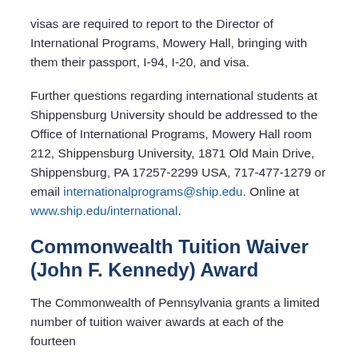visas are required to report to the Director of International Programs, Mowery Hall, bringing with them their passport, I-94, I-20, and visa.
Further questions regarding international students at Shippensburg University should be addressed to the Office of International Programs, Mowery Hall room 212, Shippensburg University, 1871 Old Main Drive, Shippensburg, PA 17257-2299 USA, 717-477-1279 or email internationalprograms@ship.edu. Online at www.ship.edu/international.
Commonwealth Tuition Waiver (John F. Kennedy) Award
The Commonwealth of Pennsylvania grants a limited number of tuition waiver awards at each of the fourteen